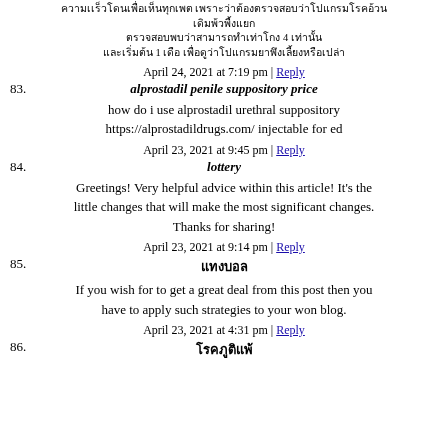[Thai script text - multiple lines]
April 24, 2021 at 7:19 pm | Reply
83. alprostadil penile suppository price
how do i use alprostadil urethral suppository https://alprostadildrugs.com/ injectable for ed
April 23, 2021 at 9:45 pm | Reply
84. lottery
Greetings! Very helpful advice within this article! It's the little changes that will make the most significant changes. Thanks for sharing!
April 23, 2021 at 9:14 pm | Reply
85. [Thai script]
If you wish for to get a great deal from this post then you have to apply such strategies to your won blog.
April 23, 2021 at 4:31 pm | Reply
86. [Thai script]